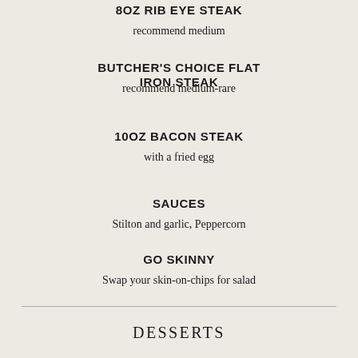8OZ RIB EYE STEAK
recommend medium
BUTCHER'S CHOICE FLAT IRON STEAK
recommend medium-rare
10OZ BACON STEAK
with a fried egg
SAUCES
Stilton and garlic, Peppercorn
GO SKINNY
Swap your skin-on-chips for salad
DESSERTS